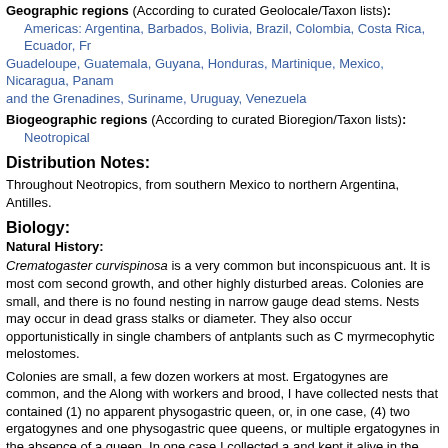Geographic regions (According to curated Geolocale/Taxon lists):
Americas: Argentina, Barbados, Bolivia, Brazil, Colombia, Costa Rica, Ecuador, Fr... Guadeloupe, Guatemala, Guyana, Honduras, Martinique, Mexico, Nicaragua, Panam... and the Grenadines, Suriname, Uruguay, Venezuela
Biogeographic regions (According to curated Bioregion/Taxon lists):
Neotropical
Distribution Notes:
Throughout Neotropics, from southern Mexico to northern Argentina, Antilles.
Biology:
Natural History:
Crematogaster curvispinosa is a very common but inconspicuous ant. It is most com... second growth, and other highly disturbed areas. Colonies are small, and there is no... found nesting in narrow gauge dead stems. Nests may occur in dead grass stalks or... diameter. They also occur opportunistically in single chambers of antplants such as C... myrmecophytic melostomes.
Colonies are small, a few dozen workers at most. Ergatogynes are common, and the... Along with workers and brood, I have collected nests that contained (1) no apparent... physogastric queen, or, in one case, (4) two ergatogynes and one physogastric quee... queens, or multiple ergatogynes in the absence of a queen. In one case I collected a... and kept it alive in the laboratory for about one year. The colony was not closely mon... observations yielded a surprising result. After about two months I found the ergatogy... she soon died. What remained in the tube were some adult workers, several large la...